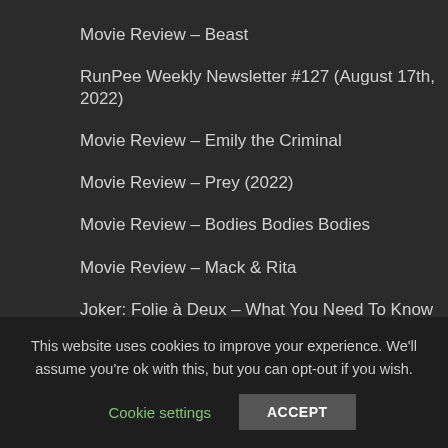Movie Review – Beast
RunPee Weekly Newsletter #127 (August 17th, 2022)
Movie Review – Emily the Criminal
Movie Review – Prey (2022)
Movie Review – Bodies Bodies Bodies
Movie Review – Mack & Rita
Joker: Folie à Deux – What You Need To Know
This website uses cookies to improve your experience. We'll assume you're ok with this, but you can opt-out if you wish.
Cookie settings   ACCEPT